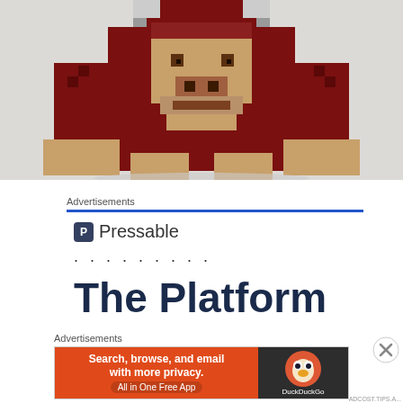[Figure (photo): Pixel art 3D toy figure of a gorilla/character in dark red, with tan/beige face and hands, photographed on white background from a frontal angle showing the upper body and legs]
Advertisements
[Figure (logo): Pressable logo: dark square icon with letter P followed by 'Pressable' text, with a row of dots below]
The Platform
Advertisements
[Figure (infographic): DuckDuckGo advertisement banner: orange left side with text 'Search, browse, and email with more privacy. All in One Free App' and dark right side with DuckDuckGo logo and name]